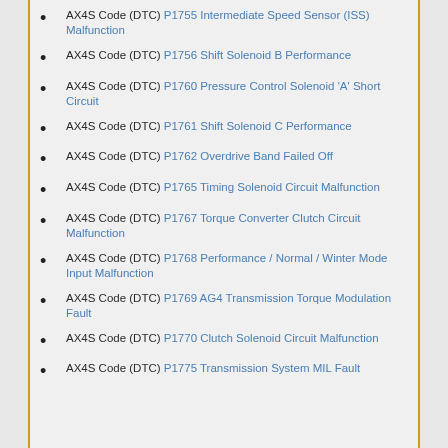AX4S Code (DTC) P1755 Intermediate Speed Sensor (ISS) Malfunction
AX4S Code (DTC) P1756 Shift Solenoid B Performance
AX4S Code (DTC) P1760 Pressure Control Solenoid 'A' Short Circuit
AX4S Code (DTC) P1761 Shift Solenoid C Performance
AX4S Code (DTC) P1762 Overdrive Band Failed Off
AX4S Code (DTC) P1765 Timing Solenoid Circuit Malfunction
AX4S Code (DTC) P1767 Torque Converter Clutch Circuit Malfunction
AX4S Code (DTC) P1768 Performance / Normal / Winter Mode Input Malfunction
AX4S Code (DTC) P1769 AG4 Transmission Torque Modulation Fault
AX4S Code (DTC) P1770 Clutch Solenoid Circuit Malfunction
AX4S Code (DTC) P1775 Transmission System MIL Fault